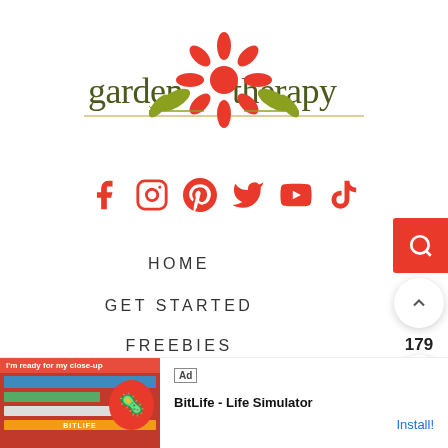[Figure (logo): Garden Therapy logo with orange flower and olive/yellow leaves, text 'garden therapy' in olive/dark green with decorative horizontal lines]
[Figure (infographic): Social media icons row: Facebook, Instagram, Pinterest, Twitter, YouTube, TikTok - all in red/orange color]
HOME
GET STARTED
FREEBIES
ABOUT
EVENTS
PRESS
[Figure (screenshot): Ad banner for BitLife - Life Simulator app with red background and sperm cell icon, Install! button]